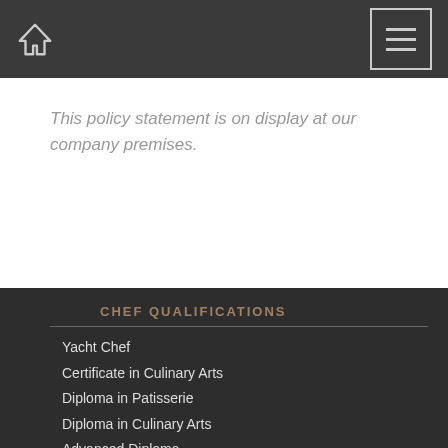Home | Menu
This policy statement is on display at our company premises.
CHEF QUALIFICATIONS
Yacht Chef
Certificate in Culinary Arts
Diploma in Patisserie
Diploma in Culinary Arts
Advanced Diploma